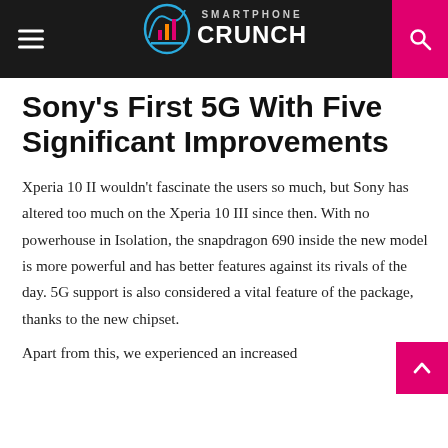Smartphone Crunch
Sony’s First 5G With Five Significant Improvements
Xperia 10 II wouldn’t fascinate the users so much, but Sony has altered too much on the Xperia 10 III since then. With no powerhouse in Isolation, the snapdragon 690 inside the new model is more powerful and has better features against its rivals of the day. 5G support is also considered a vital feature of the package, thanks to the new chipset.
Apart from this, we experienced an increased